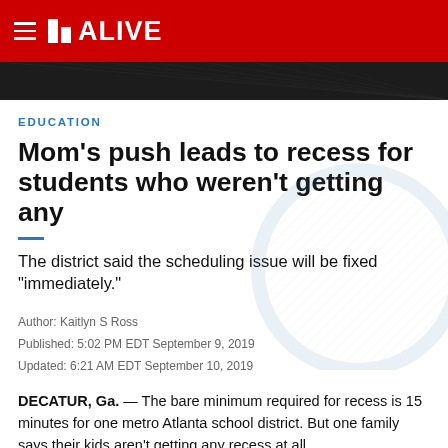11 ALIVE
[Figure (photo): Dark banner image strip at top of news article page]
EDUCATION
Mom's push leads to recess for students who weren't getting any
The district said the scheduling issue will be fixed "immediately."
Author: Kaitlyn S Ross
Published: 5:02 PM EDT September 9, 2019
Updated: 6:21 AM EDT September 10, 2019
DECATUR, Ga. — The bare minimum required for recess is 15 minutes for one metro Atlanta school district. But one family says their kids aren't getting any recess at all.